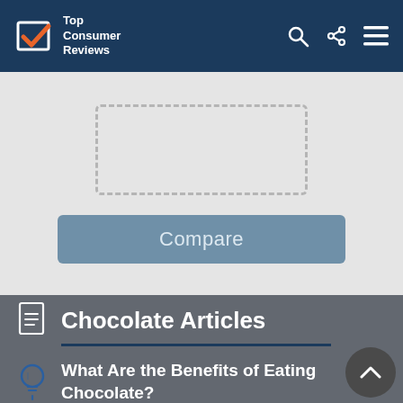Top Consumer Reviews
[Figure (screenshot): Compare tool area with dashed placeholder box and a Compare button on a light grey background]
Chocolate Articles
What Are the Benefits of Eating Chocolate?